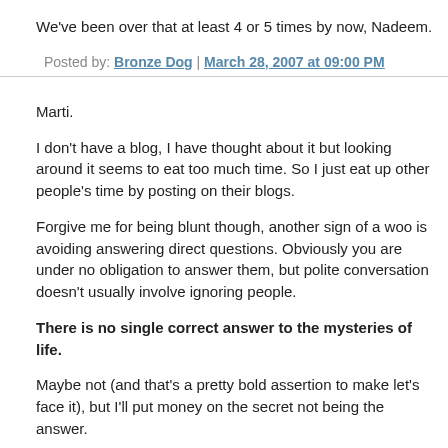We've been over that at least 4 or 5 times by now, Nadeem.
Posted by: Bronze Dog | March 28, 2007 at 09:00 PM
Marti.
I don't have a blog, I have thought about it but looking around it seems to eat too much time. So I just eat up other people's time by posting on their blogs.
Forgive me for being blunt though, another sign of a woo is avoiding answering direct questions. Obviously you are under no obligation to answer them, but polite conversation doesn't usually involve ignoring people.
There is no single correct answer to the mysteries of life.
Maybe not (and that's a pretty bold assertion to make let's face it), but I'll put money on the secret not being the answer.
Posted by: Jimmy_Blue | March 28, 2007 at 10:52 PM
Somebody thinks they're funny:
http://skeptical-lunacy.com
I've read through it. They aren't.